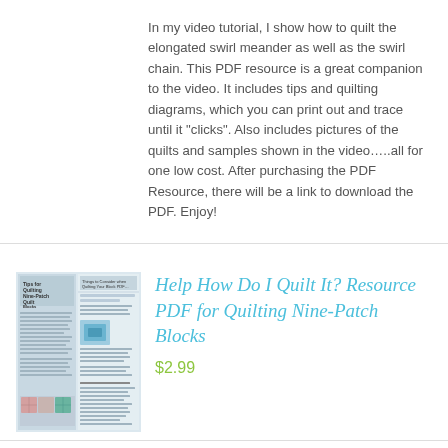In my video tutorial, I show how to quilt the elongated swirl meander as well as the swirl chain. This PDF resource is a great companion to the video. It includes tips and quilting diagrams, which you can print out and trace until it "clicks". Also includes pictures of the quilts and samples shown in the video…..all for one low cost. After purchasing the PDF Resource, there will be a link to download the PDF. Enjoy!
[Figure (photo): Cover image of a quilting resource PDF showing tips for quilting nine-patch quilt blocks, with diagrams and sample quilt photos]
Help How Do I Quilt It? Resource PDF for Quilting Nine-Patch Blocks
$2.99